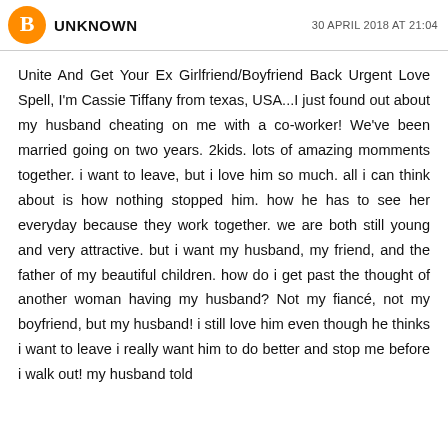UNKNOWN — 30 APRIL 2018 AT 21:04
Unite And Get Your Ex Girlfriend/Boyfriend Back Urgent Love Spell, I'm Cassie Tiffany from texas, USA...I just found out about my husband cheating on me with a co-worker! We've been married going on two years. 2kids. lots of amazing momments together. i want to leave, but i love him so much. all i can think about is how nothing stopped him. how he has to see her everyday because they work together. we are both still young and very attractive. but i want my husband, my friend, and the father of my beautiful children. how do i get past the thought of another woman having my husband? Not my fiancé, not my boyfriend, but my husband! i still love him even though he thinks i want to leave i really want him to do better and stop me before i walk out! my husband told